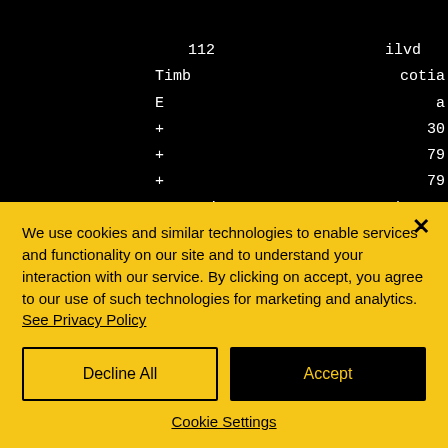112 | blvd
Timb | cotia
E | a
+ | 30
+ | 79
+ | 79
operation | nada.com
Al | ed.
We use cookies and similar technologies to enable services and functionality on our site and to understand your interaction with our service. By clicking on accept, you agree to our use of such technologies for marketing and analytics. See Privacy Policy
Decline All
Accept
Cookie Settings